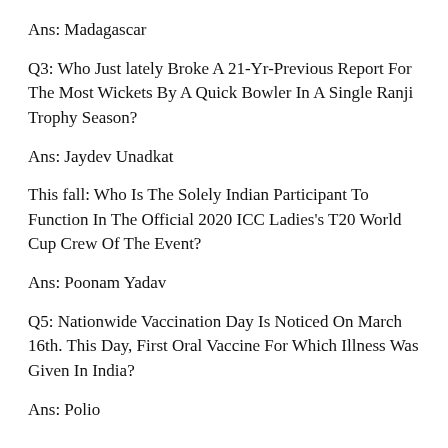Ans: Madagascar
Q3: Who Just lately Broke A 21-Yr-Previous Report For The Most Wickets By A Quick Bowler In A Single Ranji Trophy Season?
Ans: Jaydev Unadkat
This fall: Who Is The Solely Indian Participant To Function In The Official 2020 ICC Ladies's T20 World Cup Crew Of The Event?
Ans: Poonam Yadav
Q5: Nationwide Vaccination Day Is Noticed On March 16th. This Day, First Oral Vaccine For Which Illness Was Given In India?
Ans: Polio